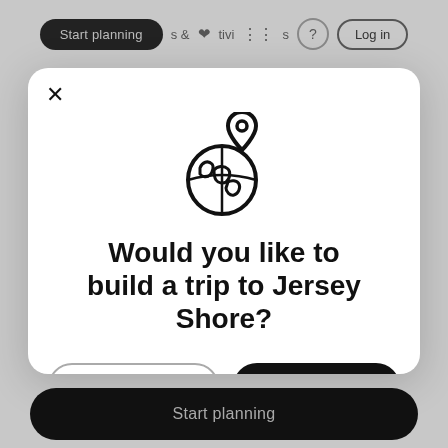Start planning  &  Activities  ?  Log in
[Figure (screenshot): Modal dialog on a travel website asking the user if they would like to build a trip to Jersey Shore, with a globe and location pin icon, a 'No thanks' button and a 'Yes!' button, over a grayed-out website background.]
Would you like to build a trip to Jersey Shore?
No thanks
Yes!
Start planning